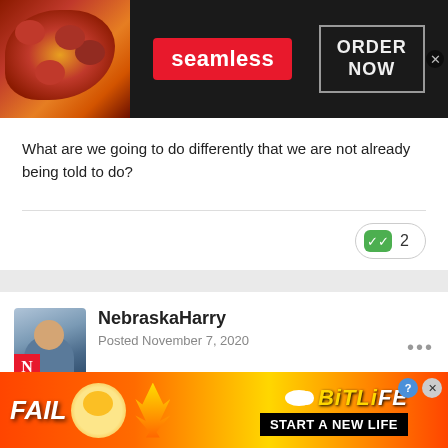[Figure (screenshot): Seamless food delivery advertisement banner with pizza image, red 'seamless' logo, and 'ORDER NOW' button on dark background]
What are we going to do differently that we are not already being told to do?
[Figure (other): Vote/reaction button showing green checkmark icon with count of 2]
NebraskaHarry
Posted November 7, 2020
On 11/7/2020 at 10:52 PM, teachercd said:
[Figure (screenshot): BitLife mobile game advertisement with FAIL text, emoji, flame graphics, and 'START A NEW LIFE' tagline on orange/red background]